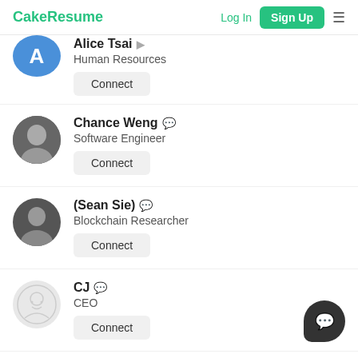CakeResume | Log In | Sign Up
Alice Tsai — Human Resources — Connect
Chance Weng — Software Engineer — Connect
(Sean Sie) — Blockchain Researcher — Connect
CJ — CEO — Connect
Wu Rich